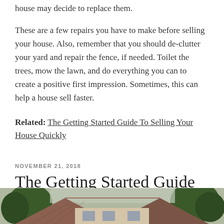house may decide to replace them.
These are a few repairs you have to make before selling your house. Also, remember that you should de-clutter your yard and repair the fence, if needed. Toilet the trees, mow the lawn, and do everything you can to create a positive first impression. Sometimes, this can help a house sell faster.
Related: The Getting Started Guide To Selling Your House Quickly
NOVEMBER 21, 2018
The Getting Started Guide To Selling Your House Quickly
[Figure (photo): Exterior photo of a house with a tiled roof and trees in the background]